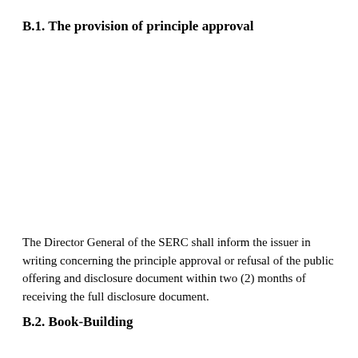B.1. The provision of principle approval
The Director General of the SERC shall inform the issuer in writing concerning the principle approval or refusal of the public offering and disclosure document within two (2) months of receiving the full disclosure document.
B.2. Book-Building